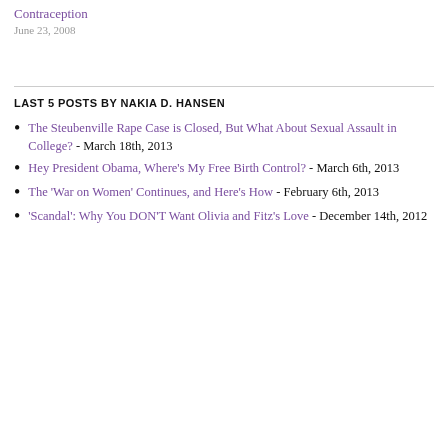Contraception
June 23, 2008
LAST 5 POSTS BY NAKIA D. HANSEN
The Steubenville Rape Case is Closed, But What About Sexual Assault in College? - March 18th, 2013
Hey President Obama, Where's My Free Birth Control? - March 6th, 2013
The 'War on Women' Continues, and Here's How - February 6th, 2013
'Scandal': Why You DON'T Want Olivia and Fitz's Love - December 14th, 2012